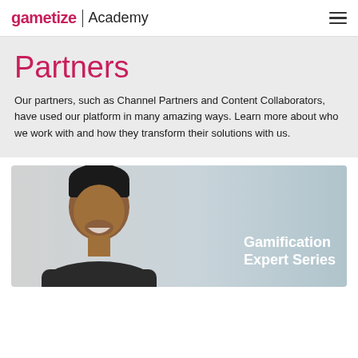gametize | Academy
Partners
Our partners, such as Channel Partners and Content Collaborators, have used our platform in many amazing ways. Learn more about who we work with and how they transform their solutions with us.
[Figure (photo): A smiling man with dark hair against a light gradient background, with bold white text overlay reading 'Gamification Expert Series']